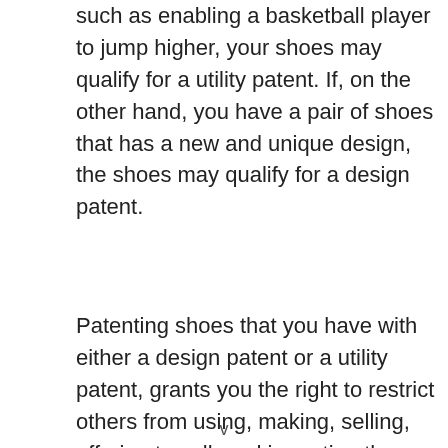such as enabling a basketball player to jump higher, your shoes may qualify for a utility patent. If, on the other hand, you have a pair of shoes that has a new and unique design, the shoes may qualify for a design patent.
Patenting shoes that you have with either a design patent or a utility patent, grants you the right to restrict others from using, making, selling, offering to sell, and importing the patented shoes to the United States for a limited period of time. Utility
v